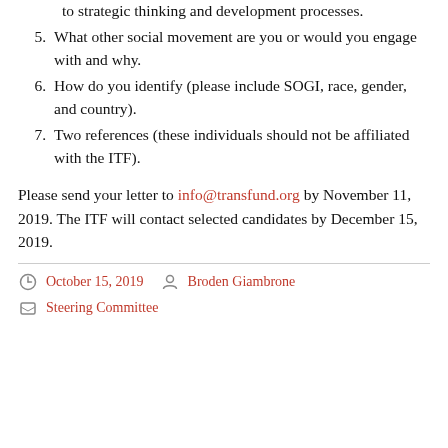to strategic thinking and development processes.
5. What other social movement are you or would you engage with and why.
6. How do you identify (please include SOGI, race, gender, and country).
7. Two references (these individuals should not be affiliated with the ITF).
Please send your letter to info@transfund.org by November 11, 2019. The ITF will contact selected candidates by December 15, 2019.
October 15, 2019  Broden Giambrone  Steering Committee